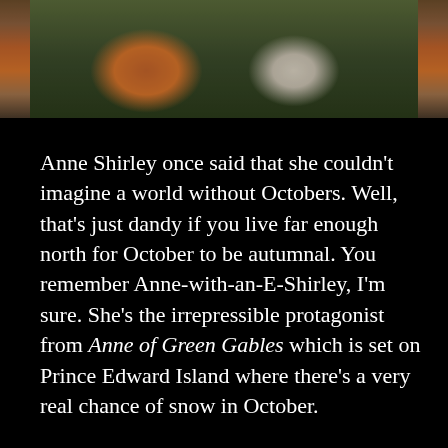[Figure (photo): Top portion of a photo showing two people sitting outdoors with pumpkins, wearing blue clothing, trees in background]
Anne Shirley once said that she couldn't imagine a world without Octobers.  Well, that's just dandy if you live far enough north for October to be autumnal.  You remember Anne-with-an-E-Shirley, I'm sure.  She's the irrepressible protagonist from Anne of Green Gables which is set on Prince Edward Island where there's a very real chance of snow in October.
Down here, the radio just announced the mercury will reach ninety for the hundred and twenty-seventh time this calendar year.  Just let that sink in, my friends with an actual fall.  I'm just saying it's pretty hard to feel the Halloween spirit while floating on a raft in the pool